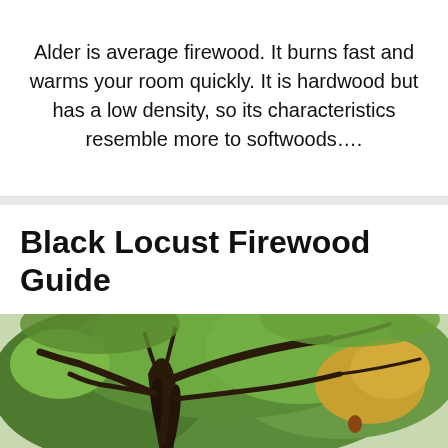Alder is average firewood. It burns fast and warms your room quickly. It is hardwood but has a low density, so its characteristics resemble more to softwoods….
Black Locust Firewood Guide
[Figure (photo): Photograph looking upward at a large, gnarled Black Locust tree with deeply ridged dark bark, twisted trunk, and spreading branches against a green leafy canopy with some yellow-orange foliage.]